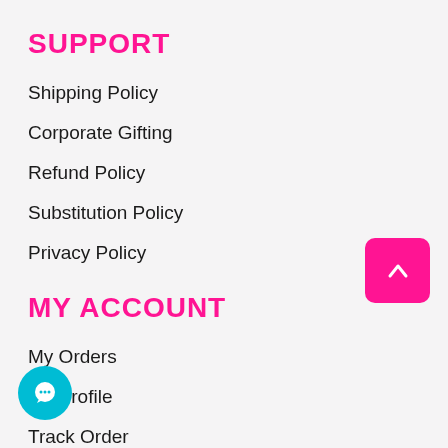SUPPORT
Shipping Policy
Corporate Gifting
Refund Policy
Substitution Policy
Privacy Policy
MY ACCOUNT
My Orders
My Profile
Track Order
CUSTOMER SUPPORT